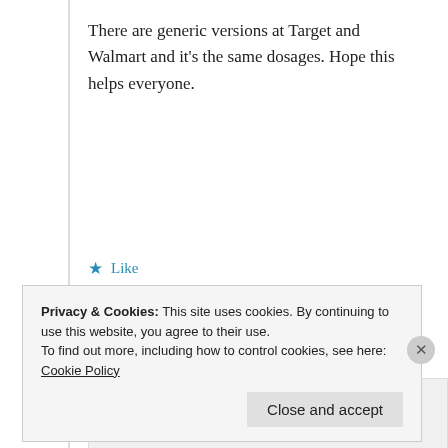There are generic versions at Target and Walmart and it’s the same dosages. Hope this helps everyone.
★ Like
↳ Reply
Advertisements
[Figure (other): Advertisement banner: P2 logo with text 'Getting your team on the same page is easy. And free.']
REPORT THIS AD
Privacy & Cookies: This site uses cookies. By continuing to use this website, you agree to their use.
To find out more, including how to control cookies, see here: Cookie Policy
Close and accept